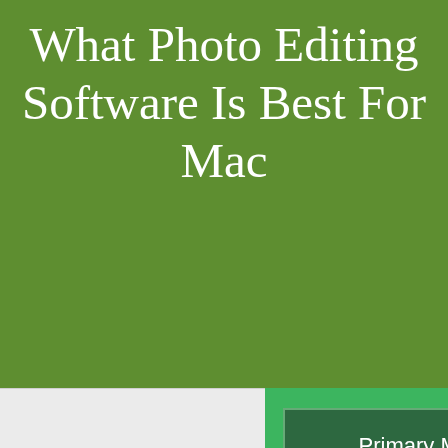What Photo Editing Software Is Best For Mac
Primary Menu
What Photo Editing